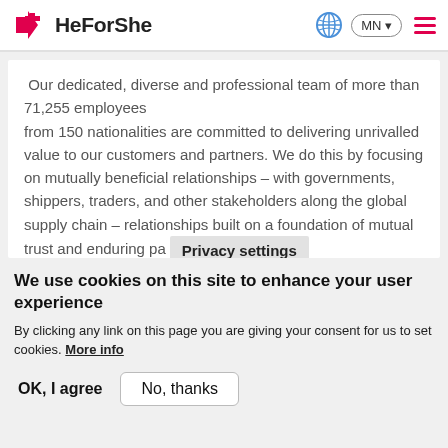HeForShe
Our dedicated, diverse and professional team of more than 71,255 employees from 150 nationalities are committed to delivering unrivalled value to our customers and partners. We do this by focusing on mutually beneficial relationships – with governments, shippers, traders, and other stakeholders along the global supply chain – relationships built on a foundation of mutual trust and enduring pa
Privacy settings
We use cookies on this site to enhance your user experience
By clicking any link on this page you are giving your consent for us to set cookies. More info
OK, I agree
No, thanks